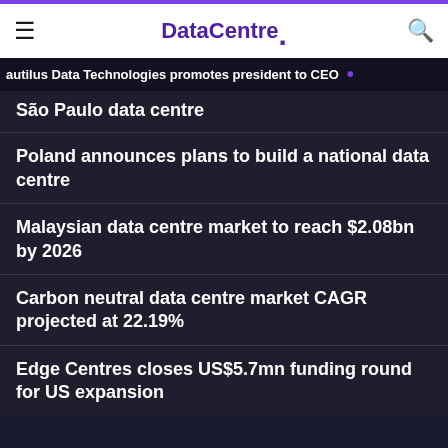DataCentre.
autilus Data Technologies promotes president to CEO
São Paulo data centre
Poland announces plans to build a national data centre
Malaysian data centre market to reach $2.08bn by 2026
Carbon neutral data centre market CAGR projected at 22.19%
Edge Centres closes US$5.7mn funding round for US expansion